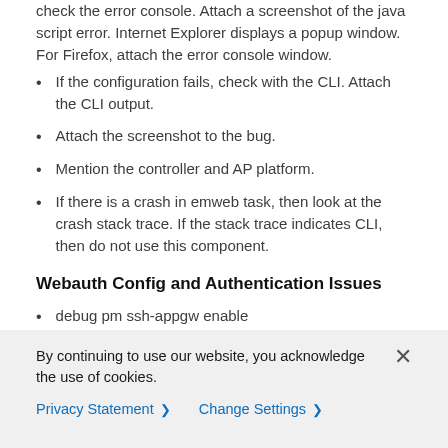check the error console. Attach a screenshot of the java script error. Internet Explorer displays a popup window. For Firefox, attach the error console window.
If the configuration fails, check with the CLI. Attach the CLI output.
Attach the screenshot to the bug.
Mention the controller and AP platform.
If there is a crash in emweb task, then look at the crash stack trace. If the stack trace indicates CLI, then do not use this component.
Webauth Config and Authentication Issues
debug pm ssh-appgw enable
debug pm ssh-tcp enable
WLC-Webauth-Template
By continuing to use our website, you acknowledge the use of cookies.
Privacy Statement > Change Settings >